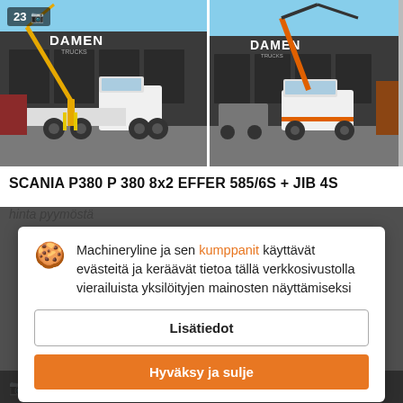[Figure (photo): Two photos of a Scania P380 truck with crane (EFFER 585/6S + JIB 4S) parked in front of a DAMEN Trucks dealership building. Left photo shows full side view, right photo shows front-side view. Photo badge shows '23' with camera icon.]
SCANIA P380 P 380 8x2 EFFER 585/6S + JIB 4S
hinta pyymöstä
Machineryline ja sen kumppanit käyttävät evästeitä ja keräävät tietoa tällä verkkosivustolla vierailuista yksilöityjen mainosten näyttämiseksi
Lisätiedot
Hyväksy ja sulje